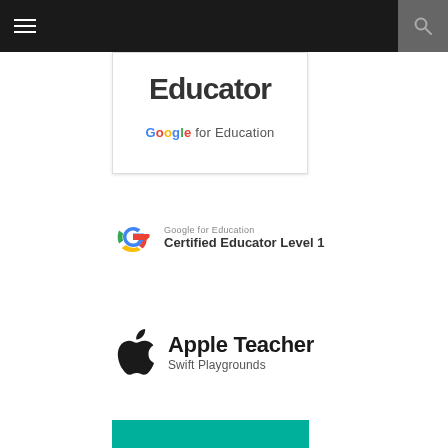[Figure (screenshot): Dark navigation bar with hamburger menu on left and search icon on right]
[Figure (logo): Partial card showing cropped bold text above Google for Education logo inside a white bordered card]
[Figure (logo): Google for Education Certified Educator Level 1 badge with Google G logo]
[Figure (logo): Apple Teacher Swift Playgrounds badge with Apple logo]
[Figure (other): Teal/green colored strip at the bottom of the page]